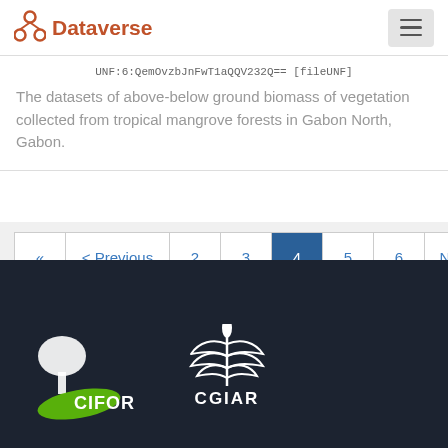Dataverse
UNF:6:QemOvzbJnFwT1aQQV232Q== [fileUNF]
The datasets of above-below ground biomass of vegetation collected from tropical mangrove forests in Gabon North, Gabon.
« < Previous 2 3 4 5 6 Next > »
[Figure (logo): CIFOR logo — white tree with green brush stroke and CIFOR text]
[Figure (logo): CGIAR logo — white wheat/leaf emblem with CGIAR text]